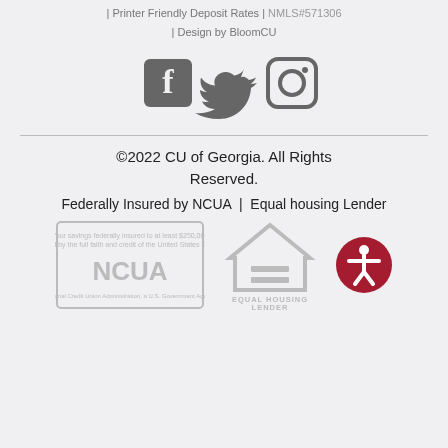| Printer Friendly Deposit Rates | NMLS#571306 | Design by BloomCU
[Figure (illustration): Social media icons: Facebook, Twitter, Instagram]
©2022 CU of Georgia. All Rights Reserved.
Federally Insured by NCUA | Equal housing Lender
[Figure (logo): NCUA federally insured logo and Equal Housing Lender logo with accessibility icon]